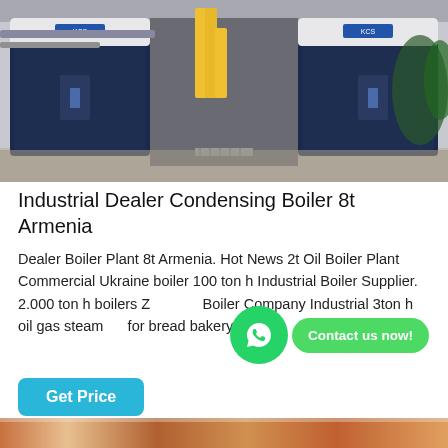[Figure (photo): Industrial boiler room with two large dark blue/white condensing boilers installed side by side in a facility, with yellow pipes overhead and a corridor between them.]
Industrial Dealer Condensing Boiler 8t Armenia
Dealer Boiler Plant 8t Armenia. Hot News 2t Oil Boiler Plant Commercial Ukraine boiler 100 ton h Industrial Boiler Supplier. 2.000 ton h boilers Z… Boiler Company Industrial 3ton h oil gas steam… for bread bakery...
[Figure (other): WhatsApp contact button overlay with green WhatsApp icon and 'Contact us now!' bubble]
Get Price
[Figure (photo): Partial view of another boiler or industrial equipment at the bottom of the page.]